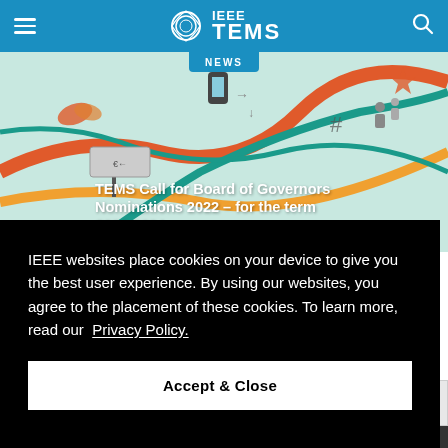IEEE TEMS
[Figure (screenshot): IEEE TEMS website header with blue navigation bar showing hamburger menu icon, IEEE TEMS logo, and search icon]
[Figure (illustration): Colorful technology-themed illustration with roads, icons, and text overlay reading: TEMS Call for Board of Governors Nominations 2022 – for the term 2023-2024]
IEEE websites place cookies on your device to give you the best user experience. By using our websites, you agree to the placement of these cookies. To learn more, read our Privacy Policy.
Accept & Close